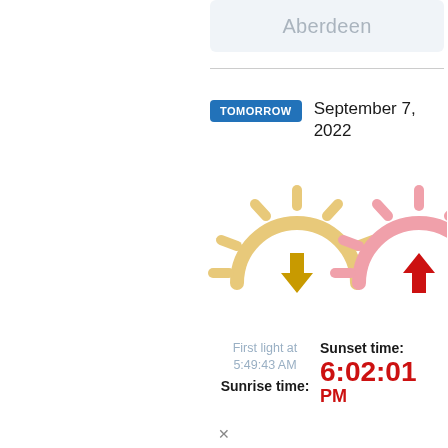Aberdeen
TOMORROW  September 7, 2022
[Figure (illustration): Sunrise icon: golden sun with rays above horizon and upward arrow; Sunset icon: pink/red sun with rays above horizon and downward arrow]
First light at 5:49:43 AM
Sunrise time:
Sunset time: 6:02:01 PM